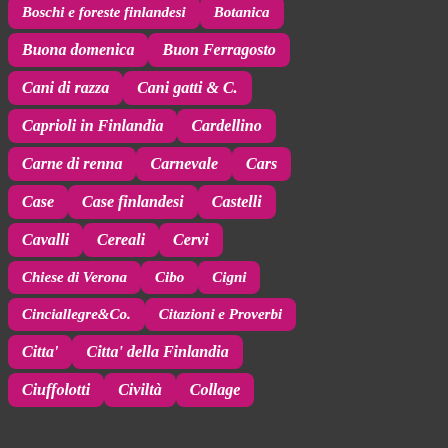Boschi e foreste finlandesi
Botanica
Buona domenica
Buon Ferragosto
Cani di razza
Cani gatti & C.
Caprioli in Finlandia
Cardellino
Carne di renna
Carnevale
Cars
Case
Case finlandesi
Castelli
Cavalli
Cereali
Cervi
Chiese di Verona
Cibo
Cigni
Cinciallegre&Co.
Citazioni e Proverbi
Citta'
Citta' della Finlandia
Ciuffolotti
Civiltà
Collage